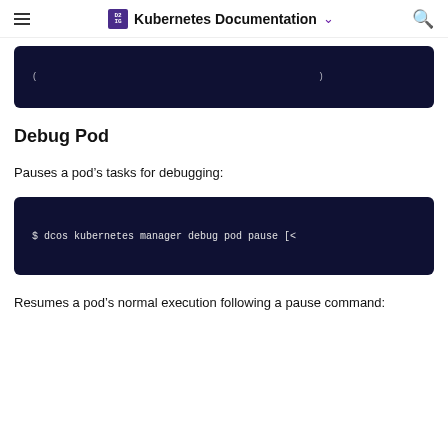Kubernetes Documentation
[Figure (screenshot): Dark navy code block partially visible at top of content area]
Debug Pod
Pauses a pod's tasks for debugging:
[Figure (screenshot): Dark navy terminal code block showing: $ dcos kubernetes manager debug pod pause [<]
Resumes a pod's normal execution following a pause command: